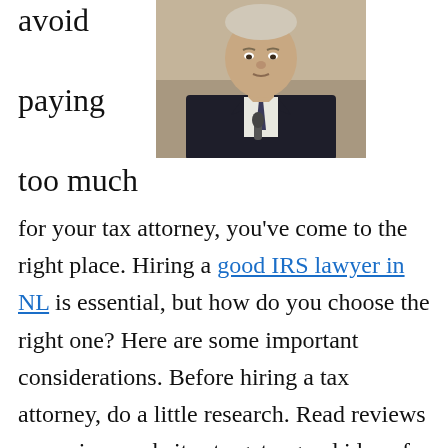avoid paying too much
[Figure (photo): A man in a dark suit with a tie, seated, appearing to testify or speak at a hearing, with a microphone visible in front of him. Tan/beige background.]
for your tax attorney, you've come to the right place. Hiring a good IRS lawyer in NL is essential, but how do you choose the right one? Here are some important considerations. Before hiring a tax attorney, do a little research. Read reviews on various websites to get a good idea of how other clients feel about the attorney's service. If you're unsure, ask your friends, colleagues, and extended family